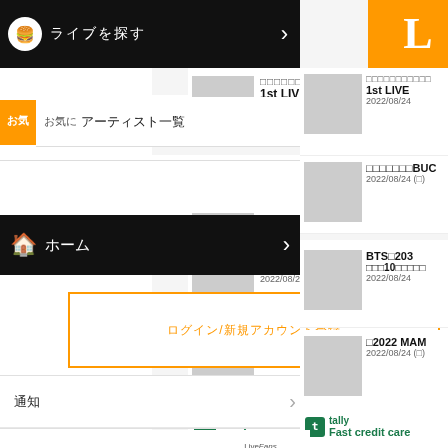[Figure (screenshot): Mobile app navigation menu screenshot showing Japanese UI with black header bars, orange bordered input box, menu items, and news items on the right side]
ライブを探す
お気に入りアーティスト
ホーム
ログイン/新規アカウント登録
通知
プッシュ通知設定
LiveFans PUSH!
ユーザー情報設定
マイデータ
その他
1st LIVE
2022/08/24
□□□□□□□BUC
2022/08/24 (□)
BTS□203
□□□10□□□□□
2022/08/24
□2022 MAM
2022/08/24 (□)
Fast credit care
tally